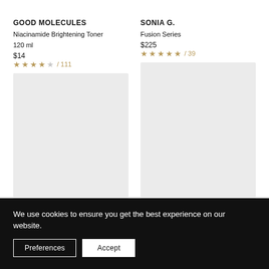GOOD MOLECULES
Niacinamide Brightening Toner 120 ml
$14
★★★★☆ / 111
SONIA G.
Fusion Series
$225
★★★★★ / 39
[Figure (photo): Product image placeholder – light grey rectangle for Good Molecules Niacinamide Brightening Toner]
[Figure (photo): Product image placeholder – light grey rectangle for Sonia G. Fusion Series]
We use cookies to ensure you get the best experience on our website.
Preferences
Accept